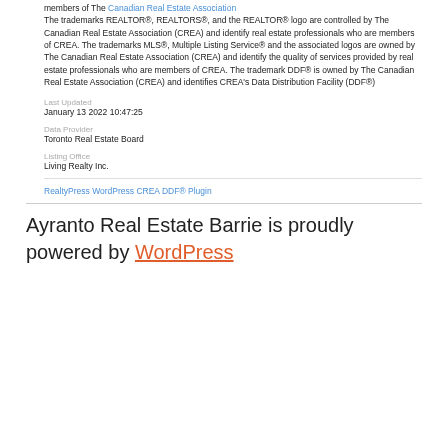members of The Canadian Real Estate Association
The trademarks REALTOR®, REALTORS®, and the REALTOR® logo are controlled by The Canadian Real Estate Association (CREA) and identify real estate professionals who are members of CREA. The trademarks MLS®, Multiple Listing Service® and the associated logos are owned by The Canadian Real Estate Association (CREA) and identify the quality of services provided by real estate professionals who are members of CREA. The trademark DDF® is owned by The Canadian Real Estate Association (CREA) and identifies CREA's Data Distribution Facility (DDF®)
Last Updated
January 13 2022 10:47:25
Data Provider
Toronto Real Estate Board
Listing Office
Living Realty Inc.
RealtyPress WordPress CREA DDF® Plugin
Ayranto Real Estate Barrie is proudly powered by WordPress